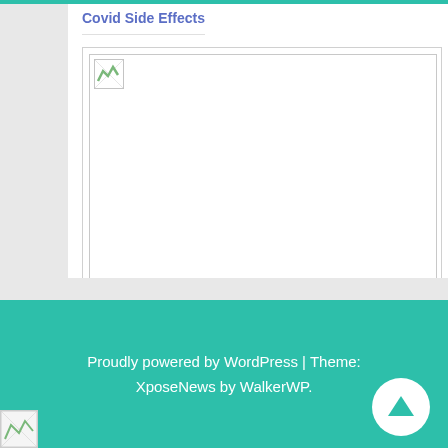Covid Side Effects
[Figure (photo): Broken/missing image placeholder for an article about Side Effects Of Covid Booster Shot Pfizer]
Side Effects Of Covid Booster Shot Pfizer
Proudly powered by WordPress | Theme: XposeNews by WalkerWP.